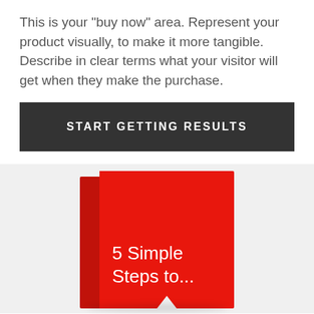This is your "buy now" area. Represent your product visually, to make it more tangible. Describe in clear terms what your visitor will get when they make the purchase.
START GETTING RESULTS
[Figure (illustration): A red book illustration with white text reading '5 Simple Steps to...' with a small white triangle arrow at the bottom, displayed on a light gray background]